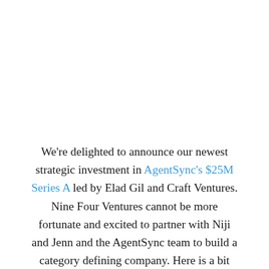We're delighted to announce our newest strategic investment in AgentSync's $25M Series A led by Elad Gil and Craft Ventures. Nine Four Ventures cannot be more fortunate and excited to partner with Niji and Jenn and the AgentSync team to build a category defining company. Here is a bit more about the business, opportunity, and why we invested.